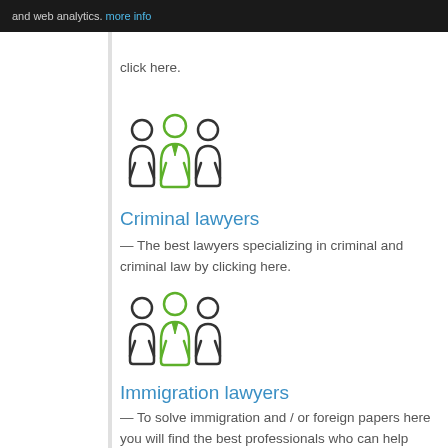and web analytics. more info
click here.
[Figure (illustration): Icon of three stylized people figures with green and dark outlines, representing a group of lawyers]
Criminal lawyers
— The best lawyers specializing in criminal and criminal law by clicking here.
[Figure (illustration): Icon of three stylized people figures with green and dark outlines, representing immigration lawyers]
Immigration lawyers
— To solve immigration and / or foreign papers here you will find the best professionals who can help you.
[Figure (illustration): Partial icon of three stylized people figures at the bottom of the page]